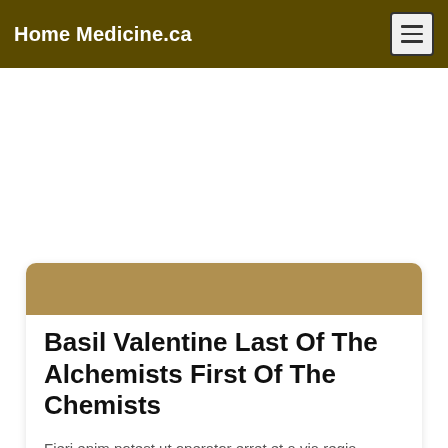Home Medicine.ca
Basil Valentine Last Of The Alchemists First Of The Chemists
Fieri enim potest ut operator erret et a via regia deflectat,
sed ut erret natura quando recte tractatur fieri non potest.